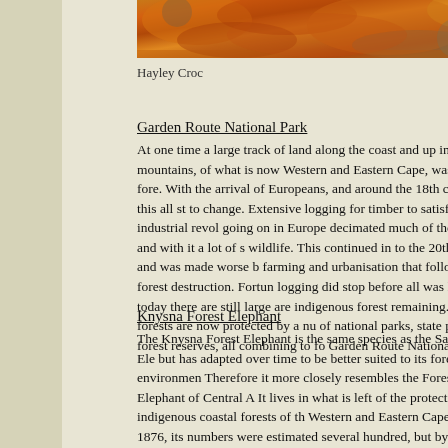[Figure (photo): Cropped photo showing orange and rust-colored rocks or lichen-covered surfaces, possibly a nature/wildlife scene.]
Hayley Croc
Garden Route National Park
At one time a large track of land along the coast and up into the mountains, of what is now Western and Eastern Cape, was thick fore. With the arrival of Europeans, and around the 18th century, this all st to change. Extensive logging for timber to satisfy the industrial revol going on in Europe decimated much of the forest and with it a lot of s wildlife. This continued in to the 20th century and was made worse b farming and urbanisation that followed the forest destruction. Fortun logging did stop before all was lost and today there are still large are indigenous forest remaining. These forests are now protected by a nu of national parks, state parks and forest reserves, all combining to fo Garden Route National Park.
Knysna Forest Elephant
The Knysna Forest Elephant is the same species as the Savannah Ele but has adapted over time to be better suited to its forest environmen Therefore it more closely resembles the Forest Elephant of Central A It lives in what is left of the protected indigenous coastal forests of th Western and Eastern Cape. Back in 1876, its numbers were estimated several hundred, but by 1908 this had dropped to between 20 and 30.